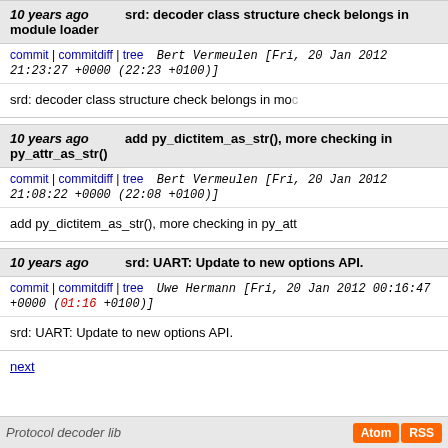10 years ago   srd: decoder class structure check belongs in module loader
commit | commitdiff | tree   Bert Vermeulen [Fri, 20 Jan 2012 21:23:27 +0000 (22:23 +0100)]
srd: decoder class structure check belongs in moc
10 years ago   add py_dictitem_as_str(), more checking in py_attr_as_str()
commit | commitdiff | tree   Bert Vermeulen [Fri, 20 Jan 2012 21:08:22 +0000 (22:08 +0100)]
add py_dictitem_as_str(), more checking in py_att
10 years ago   srd: UART: Update to new options API.
commit | commitdiff | tree   Uwe Hermann [Fri, 20 Jan 2012 00:16:47 +0000 (01:16 +0100)]
srd: UART: Update to new options API.
next
Protocol decoder lib